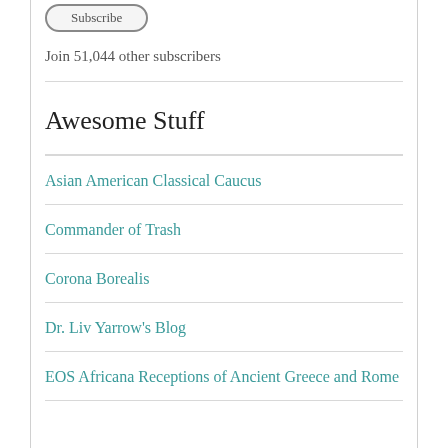[Figure (other): Partial view of a rounded rectangle button at top of page]
Join 51,044 other subscribers
Awesome Stuff
Asian American Classical Caucus
Commander of Trash
Corona Borealis
Dr. Liv Yarrow's Blog
EOS Africana Receptions of Ancient Greece and Rome